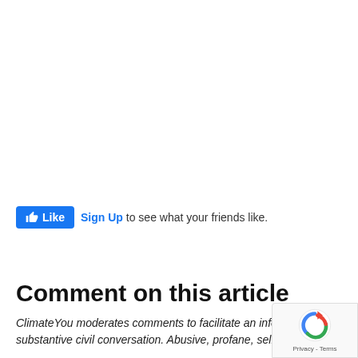[Figure (screenshot): Facebook Like button widget with thumbs up icon and 'Like' text in blue button, followed by 'Sign Up to see what your friends like.' text]
Comment on this article
ClimateYou moderates comments to facilitate an informed, substantive civil conversation. Abusive, profane, self-